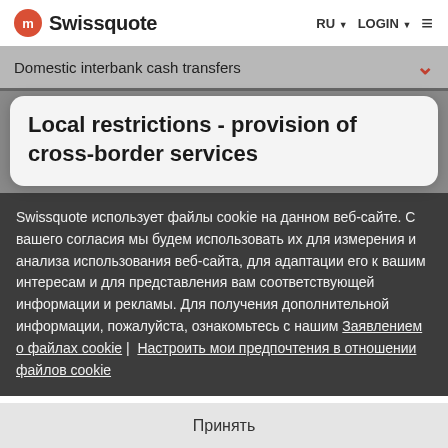Swissquote  RU ▼  LOGIN ▼  ≡
Domestic interbank cash transfers
Local restrictions - provision of cross-border services
Swissquote использует файлы cookie на данном веб-сайте. С вашего согласия мы будем использовать их для измерения и анализа использования веб-сайта, для адаптации его к вашим интересам и для представления вам соответствующей информации и рекламы. Для получения дополнительной информации, пожалуйста, ознакомьтесь с нашим Заявлением о файлах cookie | Настроить мои предпочтения в отношении файлов cookie
Принять